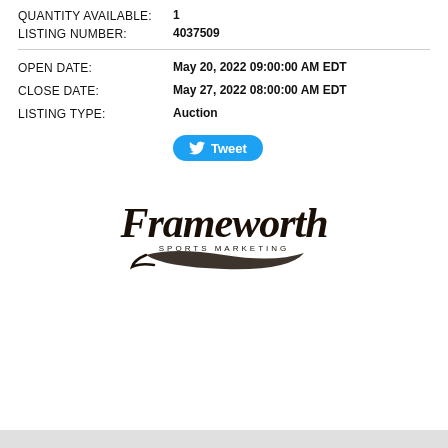QUANTITY AVAILABLE: 1
LISTING NUMBER: 4037509
OPEN DATE: May 20, 2022 09:00:00 AM EDT
CLOSE DATE: May 27, 2022 08:00:00 AM EDT
LISTING TYPE: Auction
[Figure (logo): Frameworth Sports Marketing logo in cursive script with baseball swoosh underline]